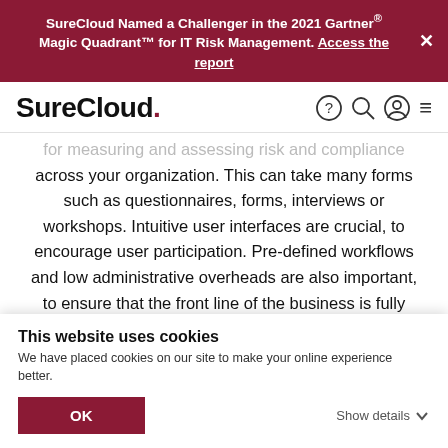SureCloud Named a Challenger in the 2021 Gartner® Magic Quadrant™ for IT Risk Management. Access the report
[Figure (logo): SureCloud logo with red period]
for measuring and assessing risk and compliance across your organization. This can take many forms such as questionnaires, forms, interviews or workshops. Intuitive user interfaces are crucial, to encourage user participation. Pre-defined workflows and low administrative overheads are also important, to ensure that the front line of the business is fully engaged in assessing risk and control as they have the most knowledge, while managing the valuable time away from normal business operation.
This website uses cookies
We have placed cookies on our site to make your online experience better.